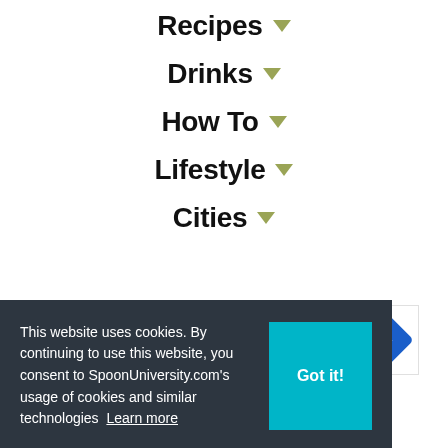Recipes ▾
Drinks ▾
How To ▾
Lifestyle ▾
Cities ▾
[Figure (other): Advertisement banner: HC (Hair Club) logo with text 'View store hours, get directions, or call your salon!' and a blue directional arrow icon.]
This website uses cookies. By continuing to use this website, you consent to SpoonUniversity.com's usage of cookies and similar technologies  Learn more